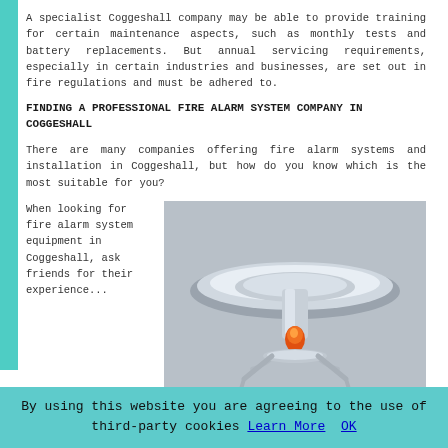A specialist Coggeshall company may be able to provide training for certain maintenance aspects, such as monthly tests and battery replacements. But annual servicing requirements, especially in certain industries and businesses, are set out in fire regulations and must be adhered to.
FINDING A PROFESSIONAL FIRE ALARM SYSTEM COMPANY IN COGGESHALL
There are many companies offering fire alarm systems and installation in Coggeshall, but how do you know which is the most suitable for you?
When looking for fire alarm system equipment in Coggeshall, ask friends for their experience...
[Figure (photo): Close-up photograph of a chrome/silver fire sprinkler head mounted in a ceiling, viewed from below at a slight angle, showing the orange heat element in the center.]
By using this website you are agreeing to the use of third-party cookies Learn More OK